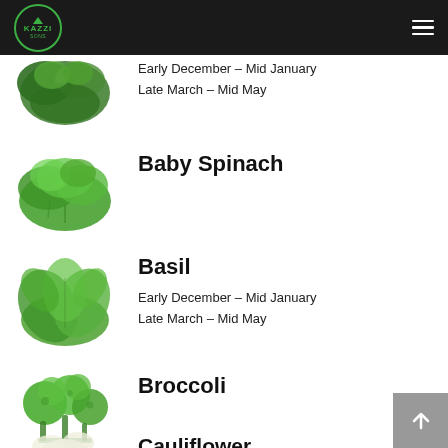Kazzi Farms
[Figure (illustration): Leafy green herbs/spinach bunch]
Early December – Mid January
Late March – Mid May
[Figure (illustration): Baby spinach leaves]
Baby Spinach
[Figure (illustration): Fresh basil leaves]
Basil
Early December – Mid January
Late March – Mid May
[Figure (illustration): Broccoli florets]
Broccoli
Cauliflower